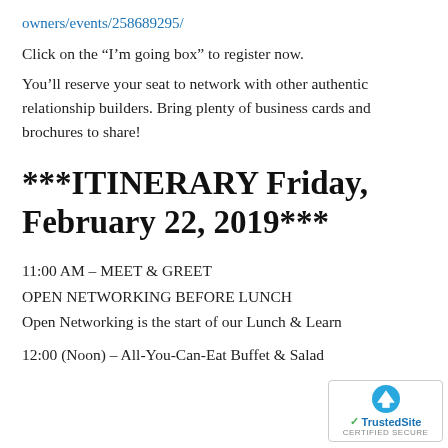owners/events/258689295/
Click on the “I’m going box” to register now.
You’ll reserve your seat to network with other authentic relationship builders. Bring plenty of business cards and brochures to share!
***ITINERARY Friday, February 22, 2019***
11:00 AM – MEET & GREET
OPEN NETWORKING BEFORE LUNCH
Open Networking is the start of our Lunch & Learn
12:00 (Noon) – All-You-Can-Eat Buffet & Salad